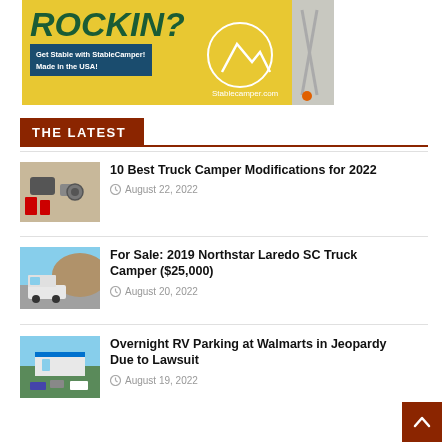[Figure (photo): Advertisement banner for StableCamper showing yellow background with 'ROCKIN?' text, a blue box saying 'Get Stable with StableCamper! Made in the USA!', a mountain logo circle, and stabilizer legs on grass]
THE LATEST
[Figure (photo): Thumbnail image of truck camper modification tools and accessories]
10 Best Truck Camper Modifications for 2022
August 22, 2022
[Figure (photo): Thumbnail image of a Northstar Laredo SC truck camper parked in a lot with rocky terrain in background]
For Sale: 2019 Northstar Laredo SC Truck Camper ($25,000)
August 20, 2022
[Figure (photo): Thumbnail image of Walmart parking lot with RVs]
Overnight RV Parking at Walmarts in Jeopardy Due to Lawsuit
August 19, 2022